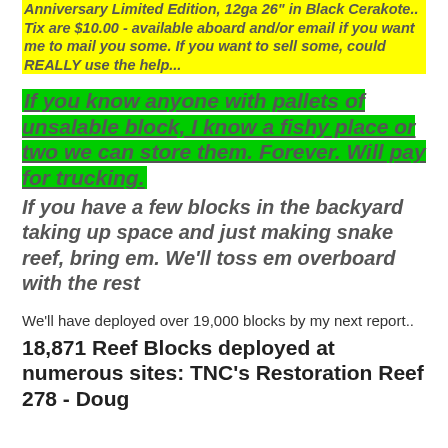Anniversary Limited Edition, 12ga 26" in Black Cerakote.. Tix are $10.00 - available aboard and/or email if you want me to mail you some. If you want to sell some, could REALLY use the help...
If you know anyone with pallets of unsalable block, I know a fishy place or two we can store them. Forever. Will pay for trucking.
If you have a few blocks in the backyard taking up space and just making snake reef, bring em. We'll toss em overboard with the rest
We'll have deployed over 19,000 blocks by my next report..
18,871 Reef Blocks deployed at numerous sites: TNC's Restoration Reef 278 - Doug